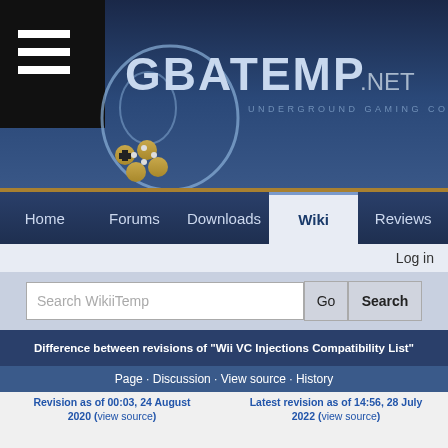[Figure (screenshot): GBAtemp.net website header banner with logo and navigation]
GBATEMP .NET UNDERGROUND GAMING COMMUNITY
Home · Forums · Downloads · Wiki · Reviews
Log in
Search WikiiTemp Go Search
Difference between revisions of "Wii VC Injections Compatibility List"
Page · Discussion · View source · History
Revision as of 00:03, 24 August 2020 (view source)
SaulFabre (talk | contribs)
m (→Nintendo 64)
← Older edit
Latest revision as of 14:56, 28 July 2022 (view source)
SaulFabre (talk | contribs)
(→Nintendo 64)
[Figure (screenshot): Belk.com advertisement - Belk Official Site, shop for clothing handbags jewelry beauty home and more]